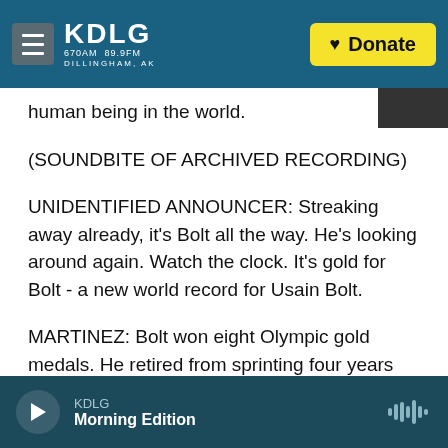KDLG 670AM 89.9FM DILLINGHAM, AK — Donate
human being in the world.
(SOUNDBITE OF ARCHIVED RECORDING)
UNIDENTIFIED ANNOUNCER: Streaking away already, it's Bolt all the way. He's looking around again. Watch the clock. It's gold for Bolt - a new world record for Usain Bolt.
MARTINEZ: Bolt won eight Olympic gold medals. He retired from sprinting four years ago.
NOEL KING, HOST:
KDLG Morning Edition